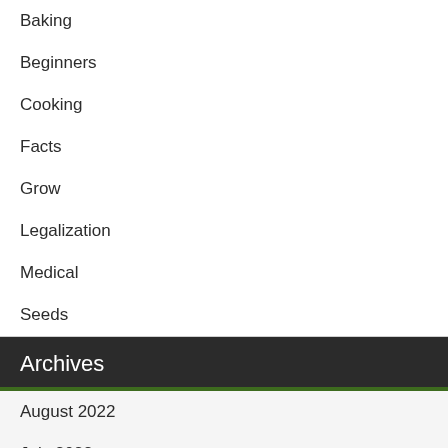Baking
Beginners
Cooking
Facts
Grow
Legalization
Medical
Seeds
Archives
August 2022
July 2022